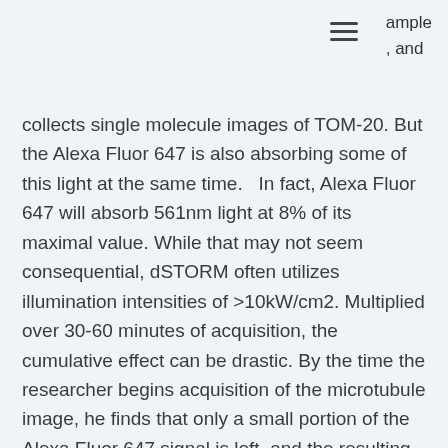ample
, and
collects single molecule images of TOM-20. But the Alexa Fluor 647 is also absorbing some of this light at the same time.   In fact, Alexa Fluor 647 will absorb 561nm light at 8% of its maximal value. While that may not seem consequential, dSTORM often utilizes illumination intensities of >10kW/cm2. Multiplied over 30-60 minutes of acquisition, the cumulative effect can be drastic. By the time the researcher begins acquisition of the microtubule image, he finds that only a small portion of the Alexa Fluor 647 signal is left, and the resulting image is poor. Clearly, a better approach is to image the more red shifted dye first. Cy3B will